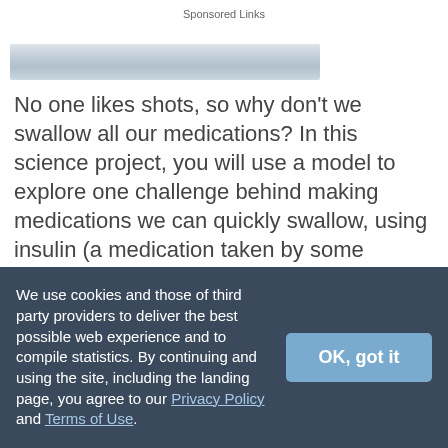Sponsored Links
[Figure (photo): Partial view of a medical/pharmaceutical image, showing a light blue and grey gradient surface, possibly pills or a medical device]
No one likes shots, so why don't we swallow all our medications? In this science project, you will use a model to explore one challenge behind making medications we can quickly swallow, using insulin (a medication taken by some diabetes patients) as an example. Will your medication be functional after
We use cookies and those of third party providers to deliver the best possible web experience and to compile statistics. By continuing and using the site, including the landing page, you agree to our Privacy Policy and Terms of Use.